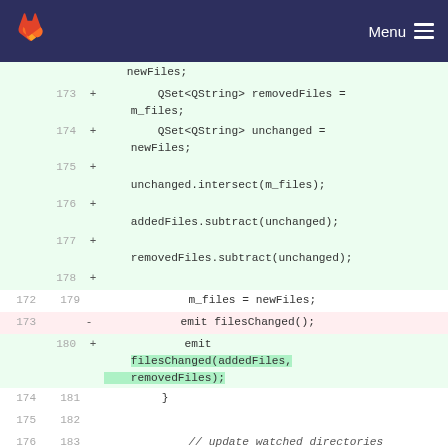GitLab — Menu
[Figure (screenshot): GitLab diff view showing code changes. Lines 172-183 with line numbers, added lines (green background), removed line (red background), and code markers (+/-).]